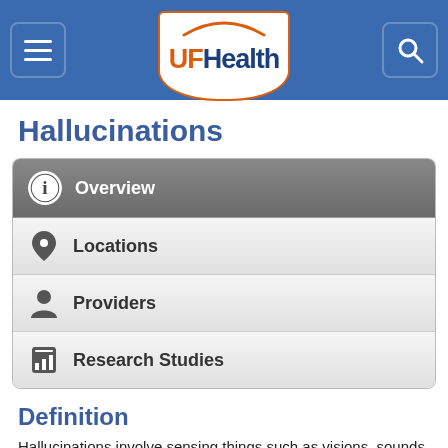UFHealth
Hallucinations
Overview
Locations
Providers
Research Studies
Definition
Hallucinations involve sensing things such as visions, sounds, or smells that seem real but are not. These things are created by the mind.
Alternative Names